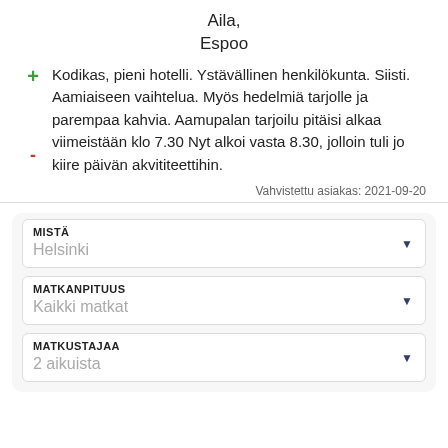Aila,
Espoo
Kodikas, pieni hotelli. Ystävällinen henkilökunta. Siisti. Aamiaiseen vaihtelua. Myös hedelmiä tarjolle ja parempaa kahvia. Aamupalan tarjoilu pitäisi alkaa viimeistään klo 7.30 Nyt alkoi vasta 8.30, jolloin tuli jo kiire päivän akvititeettihin.
Vahvistettu asiakas: 2021-09-20
MISTÄ
Helsinki
MATKANPITUUS
Kaikki matkat
MATKUSTAJAA
2 aikuista